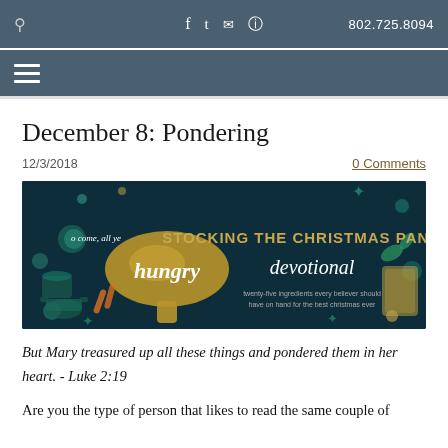802.725.8094
December 8: Pondering
12/3/2018
0 Comments
[Figure (illustration): Banner image with dark teal background showing a wooden spoon, Christmas cooking decorations, and text reading 'o come, all ye hungry' and 'STOCKING THE CHRISTMAS PANTRY devotional' with subtitle 'twenty-five ingredients every believer should have on hand for the best christmas ever']
But Mary treasured up all these things and pondered them in her heart. - Luke 2:19
Are you the type of person that likes to read the same couple of